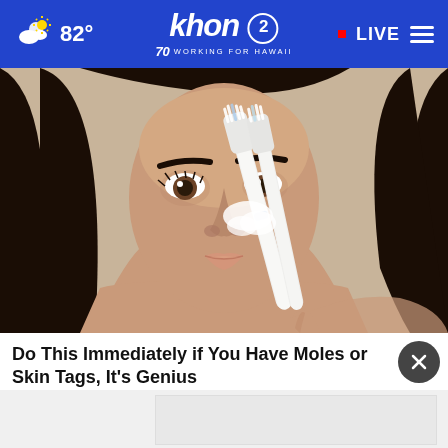82° khon2 WORKING FOR HAWAII • LIVE
[Figure (photo): Woman holding a toothbrush up to her nose, close-up portrait photo used in an advertisement]
Do This Immediately if You Have Moles or Skin Tags, It's Genius
Smart Life Reports